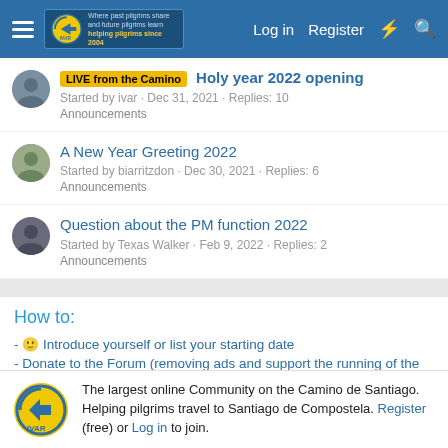Log in  Register
LIVE from the Camino  Holy year 2022 opening
Started by ivar · Dec 31, 2021 · Replies: 10
Announcements
A New Year Greeting 2022
Started by biarritzdon · Dec 30, 2021 · Replies: 6
Announcements
Question about the PM function 2022
Started by Texas Walker · Feb 9, 2022 · Replies: 2
Announcements
How to:
- 🙂 Introduce yourself or list your starting date
- Donate to the Forum (removing ads and support the running of the site)
The largest online Community on the Camino de Santiago. Helping pilgrims travel to Santiago de Compostela. Register (free) or Log in to join.